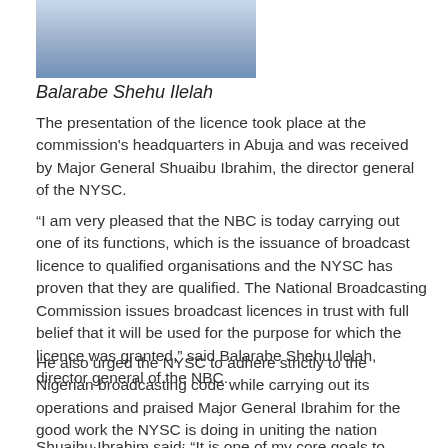[Figure (photo): Partial photo of Balarabe Shehu Ilelah wearing a light blue outfit, cropped at the top of the page]
Balarabe Shehu Ilelah
The presentation of the licence took place at the commission's headquarters in Abuja and was received by Major General Shuaibu Ibrahim, the director general of the NYSC.
“I am very pleased that the NBC is today carrying out one of its functions, which is the issuance of broadcast licence to qualified organisations and the NYSC has proven that they are qualified. The National Broadcasting Commission issues broadcast licences in trust with full belief that it will be used for the purpose for which the licence was granted,” said Balarabe Shehu Ilelah, director general of the NBC.
He also urged the NYSC to adhere strictly to the Nigerian broadcasting code while carrying out its operations and praised Major General Ibrahim for the good work the NYSC is doing in uniting the nation through its service scheme.
Shuaibu Ibrahim said: “It is one of my core goals to establish a